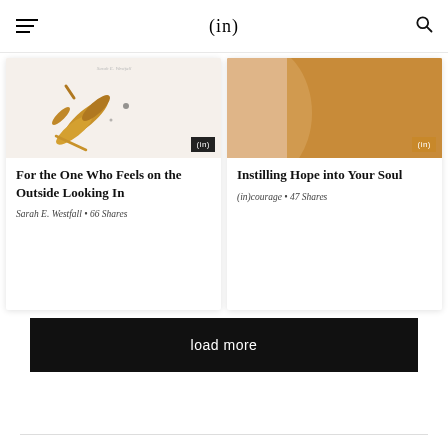(in)
[Figure (screenshot): Card image for 'For the One Who Feels on the Outside Looking In' — warm white background with gold/brown paint strokes and dots, badge showing (in)]
For the One Who Feels on the Outside Looking In
Sarah E. Westfall • 66 Shares
[Figure (screenshot): Card image for 'Instilling Hope into Your Soul' — peach and golden/amber abstract shapes, badge showing (in)]
Instilling Hope into Your Soul
(in)courage • 47 Shares
load more